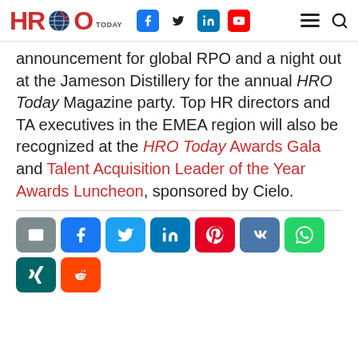HRO TODAY — navigation header with social icons and menu
announcement for global RPO and a night out at the Jameson Distillery for the annual HRO Today Magazine party. Top HR directors and TA executives in the EMEA region will also be recognized at the HRO Today Awards Gala and Talent Acquisition Leader of the Year Awards Luncheon, sponsored by Cielo.
[Figure (other): Social sharing buttons: email (gray), Facebook (blue), Twitter (light blue), LinkedIn (dark blue), Pinterest (red), VK (slate blue), WhatsApp (green), Xing (dark teal), Reddit (orange)]